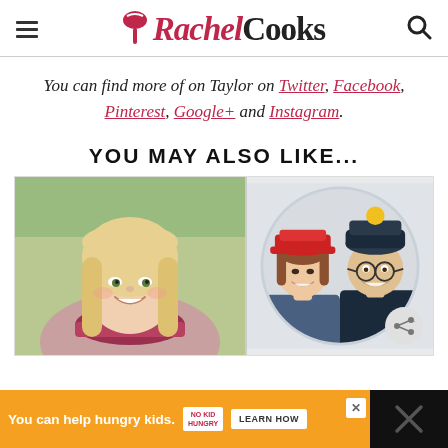Rachel Cooks
You can find more of on Taylor on Twitter, Facebook, Pinterest, Google+ and Instagram.
YOU MAY ALSO LIKE...
[Figure (photo): Two photos side by side: left shows a smiling blonde woman outdoors; right shows a young couple wearing colorful winter hats in a circular frame]
You can help hungry kids. NO KID HUNGRY LEARN HOW